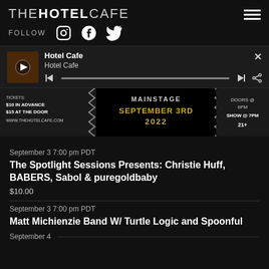THE HOTEL CAFE
FOLLOW
[Figure (screenshot): Media player bar showing Hotel Cafe podcast episode with play controls and progress bar]
[Figure (photo): Event flyer banner: MAINSTAGE SEPTEMBER 3RD 2022, $10 IN ADVANCE $15 AT THE DOOR, WWW.THEHOTELCAFE.COM, SHOW @ 7PM, 21+]
September 3 7:00 pm PDT
The Spotlight Sessions Presents: Christie Huff, BABERS, Sabol & puregoldbaby
$10.00
September 3 7:00 pm PDT
Matt Michienzie Band W/ Turtle Logic and Spoonful
September 4